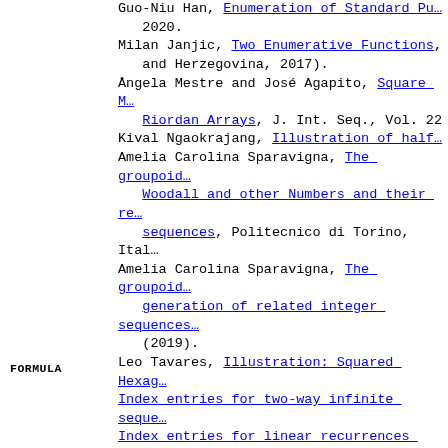Guo-Niu Han, Enumeration of Standard Puzzles, 2020.
Milan Janjic, Two Enumerative Functions, and Herzegovina, 2017).
Ångela Mestre and José Agapito, Square M... Riordan Arrays, J. Int. Seq., Vol. 22
Kival Ngaokrajang, Illustration of half...
Amelia Carolina Sparavigna, The groupoid... Woodall and other Numbers and their re... sequences, Politecnico di Torino, Ital.
Amelia Carolina Sparavigna, The groupoid... generation of related integer sequences (2019).
Leo Tavares, Illustration: Squared Hexag...
Index entries for two-way infinite seque...
Index entries for linear recurrences with (3,-3,1).
FORMULA
a(n) = 3*Sum_{k=1..n} tan^2(k*Pi/(2*(n + Apr 17 2001
a(n)^2 = n*(a(n) + 1 + a(n) + 2 + ... + + 13 + 14). - Charlie Marion, Jun 15 2...
From N. J. A. Sloane, Sep 13 2003: (Star...
G.f.: x*(3 + x)/(1 - x)^3.
E.g.f.: exp(x)*(3*x + 2*x^2).
a(n) = A000217(2*n) = A000384(-n). (End)
a(n) = A084849(n) - 1; A100035(a(n) + 1) 2004
a(n) = A126890(n, k) + A126890(n, n-k), Dec 30 2006
a(2*n) = A033585(n); a(3*n) = A144314(n)